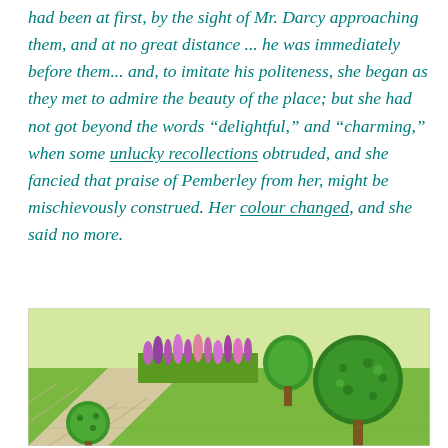had been at first, by the sight of Mr. Darcy approaching them, and at no great distance ... he was immediately before them... and, to imitate his politeness, she began as they met to admire the beauty of the place; but she had not got beyond the words “delightful,” and “charming,” when some unlucky recollections obtruded, and she fancied that praise of Pemberley from her, might be mischievously construed. Her colour changed, and she said no more.
[Figure (illustration): Illustration of a formal garden with green topiary trees, a manicured lawn, a pathway with stone tiles, and a flower bed with pink and purple blooms. The scene appears to be from a digital rendering of an English estate garden.]